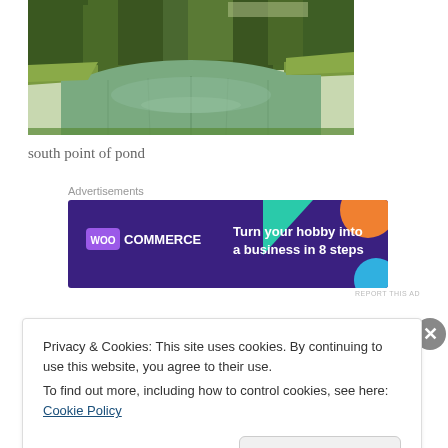[Figure (photo): Outdoor photo of south point of a pond, showing green water surrounded by trees. The pond reflects the surrounding vegetation.]
south point of pond
[Figure (screenshot): WooCommerce advertisement banner with purple background. Text reads 'Turn your hobby into a business in 8 steps' with geometric triangle shapes in teal and orange.]
Privacy & Cookies: This site uses cookies. By continuing to use this website, you agree to their use.
To find out more, including how to control cookies, see here: Cookie Policy
Close and accept